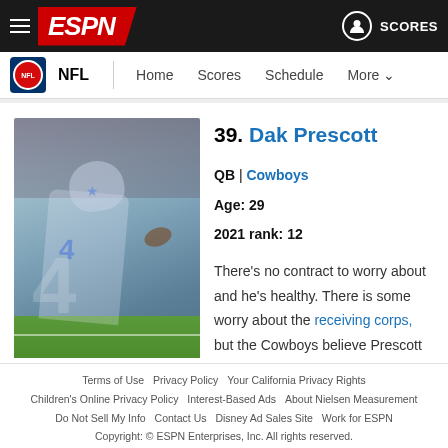ESPN NFL – Home Scores Schedule More | SCORES
39. Dak Prescott
QB | Cowboys
Age: 29
2021 rank: 12
[Figure (photo): Dak Prescott (#4) in Dallas Cowboys white uniform running with football]
There's no contract to worry about and he's healthy. There is some worry about the receiving corps, but the Cowboys believe Prescott
Terms of Use  Privacy Policy  Your California Privacy Rights  Children's Online Privacy Policy  Interest-Based Ads  About Nielsen Measurement  Do Not Sell My Info  Contact Us  Disney Ad Sales Site  Work for ESPN  Copyright: © ESPN Enterprises, Inc. All rights reserved.